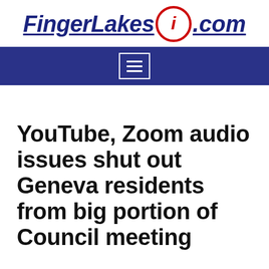[Figure (logo): FingerLakes1.com logo with blue italic bold text and a red circle containing a stylized italic 'i']
[Figure (screenshot): Dark blue navigation bar with a hamburger menu button (three horizontal lines) centered, outlined in white]
YouTube, Zoom audio issues shut out Geneva residents from big portion of Council meeting